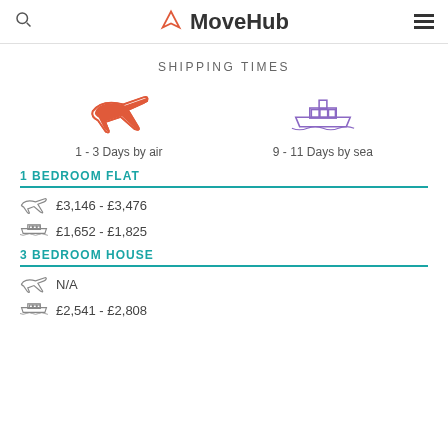MoveHub
SHIPPING TIMES
[Figure (infographic): Airplane icon (orange) with label '1 - 3 Days by air' and ship icon (purple) with label '9 - 11 Days by sea']
1 BEDROOM FLAT
£3,146 - £3,476
£1,652 - £1,825
3 BEDROOM HOUSE
N/A
£2,541 - £2,808